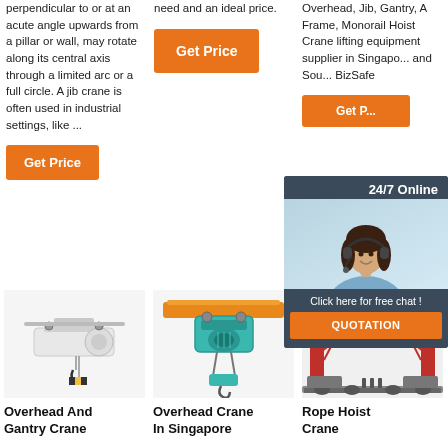perpendicular to or at an acute angle upwards from a pillar or wall, may rotate along its central axis through a limited arc or a full circle. A jib crane is often used in industrial settings, like ...
need and an ideal price.
Overhead, Jib, Gantry, A Frame, Monorail Hoist Crane lifting equipment supplier in Singapore and Sou... BizSafe
[Figure (other): Orange Get Price button (column 2)]
[Figure (other): Orange Get Price button (column 1)]
[Figure (other): Orange Get Price button (column 3, partially hidden)]
[Figure (photo): 24/7 Online chat popup with woman wearing headset, dark background, click here for free chat, QUOTATION button]
[Figure (photo): Overhead And Gantry Crane product image - white industrial crane hoist]
[Figure (photo): Overhead Crane In Singapore product image - teal/green electric hoist on orange beam]
[Figure (photo): Rope Hoist Crane product image - large red gantry crane structure]
Overhead And Gantry Crane
Overhead Crane In Singapore
Rope Hoist Crane